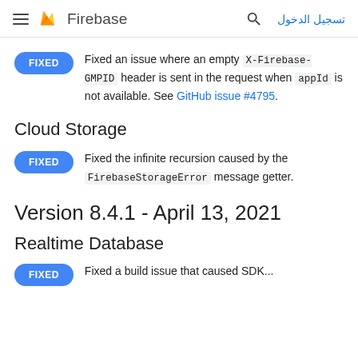Firebase — تسجيل الدخول
FIXED — Fixed an issue where an empty X-Firebase-GMPID header is sent in the request when appId is not available. See GitHub issue #4795.
Cloud Storage
FIXED — Fixed the infinite recursion caused by the FirebaseStorageError message getter.
Version 8.4.1 - April 13, 2021
Realtime Database
FIXED — Fixed a build issue that caused SDK...